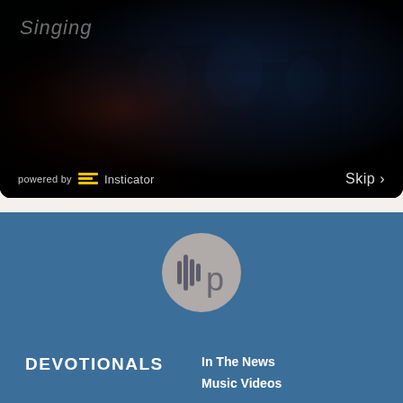[Figure (screenshot): Dark-overlaid stained glass image of religious figures used as advertisement background with 'Singing' text visible in upper left, 'powered by Insticator' in bottom left, and 'Skip >' in bottom right]
[Figure (logo): Circular podcast/audio logo with sound wave bars and letter 'p' on grey circle background, shown on blue footer background]
DEVOTIONALS
In The News
Music Videos